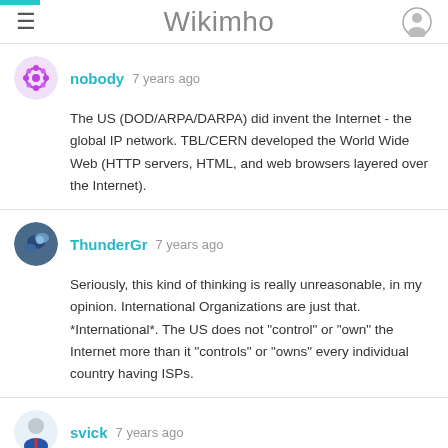Wikimho
nobody 7 years ago
The US (DOD/ARPA/DARPA) did invent the Internet - the global IP network. TBL/CERN developed the World Wide Web (HTTP servers, HTML, and web browsers layered over the Internet).
ThunderGr 7 years ago
Seriously, this kind of thinking is really unreasonable, in my opinion. International Organizations are just that. *International*. The US does not "control" or "own" the Internet more than it "controls" or "owns" every individual country having ISPs.
svick 7 years ago
@ThunderGr What makes you think ICANN and IANA are international organizations?